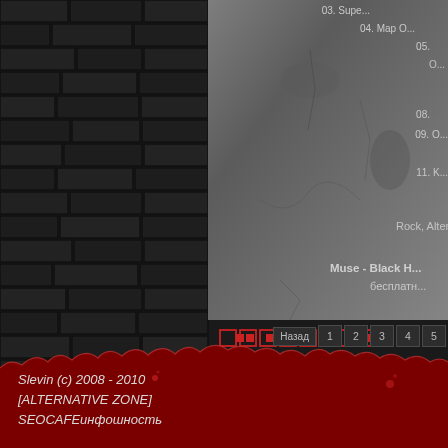[Figure (screenshot): Website screenshot showing a music page for Muse - Black Holes and Revelations on a dark brick/concrete background. Shows track listing partially visible (tracks 03-11), genre Rock Alternative, title Muse - Black H... бесплатно, rating dots in red, view count 10307, pagination buttons (Назад, 1, 2, 3, 4, 5), and red torn footer banner.]
03. Supe...
04. Map O...
05.
08.
09. O...
11. K...
Rock, Alternative
Muse - Black H... бесплатн...
Просмотров: 10307
Slevin (c) 2008 - 2010
[ALTERNATIVE ZONE]
SEOCAFEинфошность